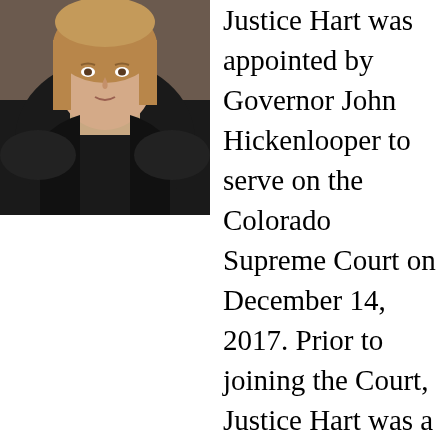[Figure (photo): Portrait photo of Justice Hart wearing black judicial robes and a blue beaded necklace, with light brown hair.]
Justice Hart was appointed by Governor John Hickenlooper to serve on the Colorado Supreme Court on December 14, 2017. Prior to joining the Court, Justice Hart was a professor at the University of Colorado Law School, where she directed the Byron R. White Center for the